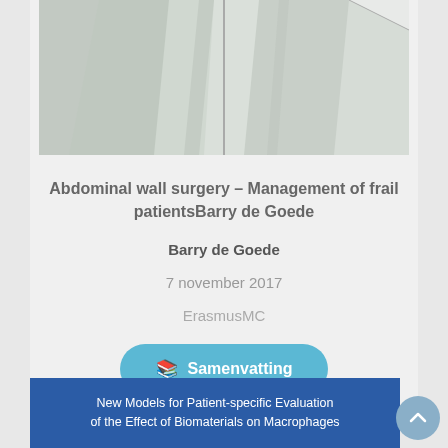[Figure (photo): Abstract image of overlapping folded paper or material sheets in grayscale]
Abdominal wall surgery – Management of frail patientsBarry de Goede
Barry de Goede
7 november 2017
ErasmusMC
Samenvatting
[Figure (screenshot): Blue card at bottom showing: New Models for Patient-specific Evaluation of the Effect of Biomaterials on Macrophages]